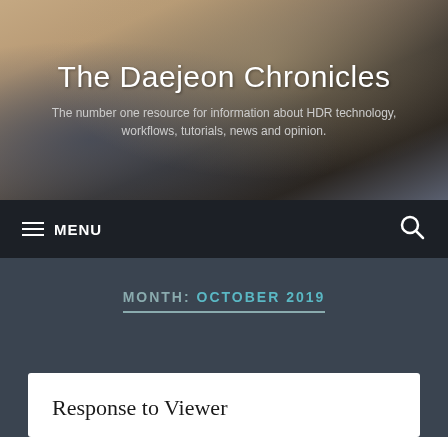The Daejeon Chronicles
The number one resource for information about HDR technology, workflows, tutorials, news and opinion.
MENU
MONTH: OCTOBER 2019
Response to Viewer